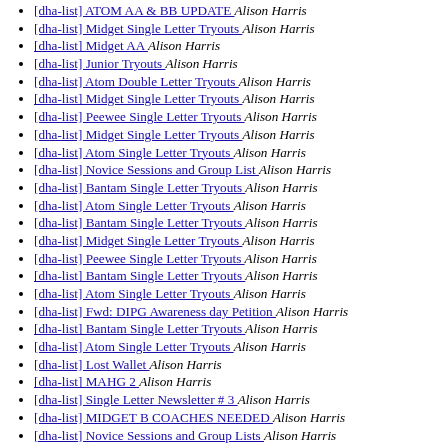[dha-list] ATOM AA & BB UPDATE  Alison Harris
[dha-list] Midget Single Letter Tryouts  Alison Harris
[dha-list] Midget AA  Alison Harris
[dha-list] Junior Tryouts  Alison Harris
[dha-list] Atom Double Letter Tryouts  Alison Harris
[dha-list] Midget Single Letter Tryouts  Alison Harris
[dha-list] Peewee Single Letter Tryouts  Alison Harris
[dha-list] Midget Single Letter Tryouts  Alison Harris
[dha-list] Atom Single Letter Tryouts  Alison Harris
[dha-list] Novice Sessions and Group List  Alison Harris
[dha-list] Bantam Single Letter Tryouts  Alison Harris
[dha-list] Atom Single Letter Tryouts  Alison Harris
[dha-list] Bantam Single Letter Tryouts  Alison Harris
[dha-list] Midget Single Letter Tryouts  Alison Harris
[dha-list] Peewee Single Letter Tryouts  Alison Harris
[dha-list] Bantam Single Letter Tryouts  Alison Harris
[dha-list] Atom Single Letter Tryouts  Alison Harris
[dha-list] Fwd: DIPG Awareness day Petition  Alison Harris
[dha-list] Bantam Single Letter Tryouts  Alison Harris
[dha-list] Atom Single Letter Tryouts  Alison Harris
[dha-list] Lost Wallet  Alison Harris
[dha-list] MAHG 2  Alison Harris
[dha-list] Single Letter Newsletter # 3  Alison Harris
[dha-list] MIDGET B COACHES NEEDED  Alison Harris
[dha-list] Novice Sessions and Group Lists  Alison Harris